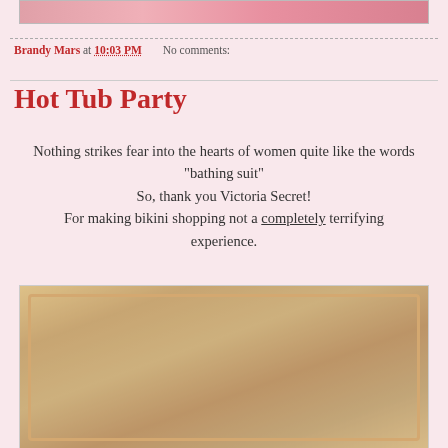[Figure (photo): Partial view of a photo strip at top of page showing people]
Brandy Mars at 10:03 PM   No comments:
Hot Tub Party
Nothing strikes fear into the hearts of women quite like the words "bathing suit"
So, thank you Victoria Secret!
For making bikini shopping not a completely terrifying experience.
[Figure (photo): A woman in a bikini taking a mirror selfie in what appears to be a dressing room at Victoria Secret]